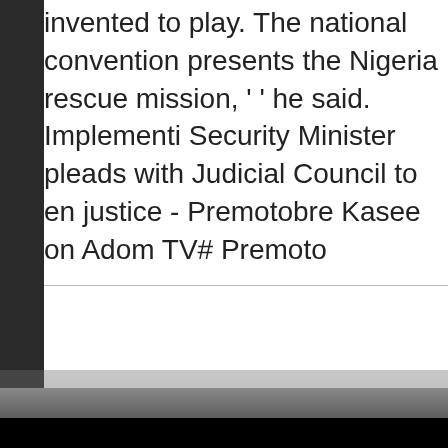invented to play. The national convention presents the Nigeria rescue mission, ' ' he said. Implementing Security Minister pleads with Judicial Council to ensure justice - Premotobre Kasee on Adom TV# Premoto
Copyr